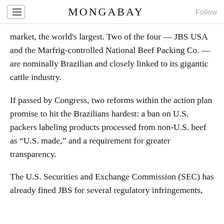MONGABAY
market, the world's largest. Two of the four — JBS USA and the Marfrig-controlled National Beef Packing Co. — are nominally Brazilian and closely linked to its gigantic cattle industry.
If passed by Congress, two reforms within the action plan promise to hit the Brazilians hardest: a ban on U.S. packers labeling products processed from non-U.S. beef as “U.S. made,” and a requirement for greater transparency.
The U.S. Securities and Exchange Commission (SEC) has already fined JBS for several regulatory infringements,